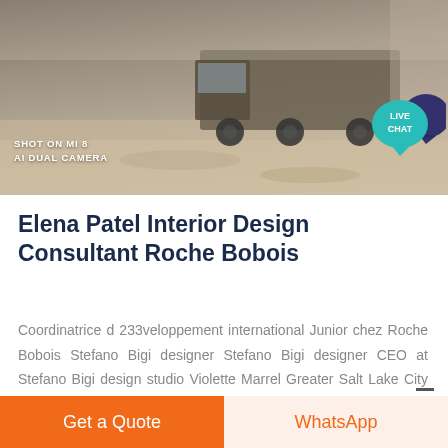[Figure (photo): Outdoor scene with sand/dirt ground and a truck visible in background. Photo taken with Xiaomi Mi 8 Dual Camera. Live Chat bubble overlay in top-right corner.]
Elena Patel Interior Design Consultant Roche Bobois
Coordinatrice d 233veloppement international Junior chez Roche Bobois Stefano Bigi designer Stefano Bigi designer CEO at Stefano Bigi design studio Violette Marrel Greater Salt Lake City Area Elena Patel Elena Patel Student at Virginia Polytechnic
Get a Quote
WhatsApp